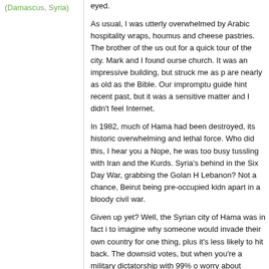(Damascus, Syria)
eyed.

As usual, I was utterly overwhelmed by Arabic hospitality wraps, houmus and cheese pastries. The brother of the us out for a quick tour of the city. Mark and I found ourse church. It was an impressive building, but struck me as p are nearly as old as the Bible. Our impromptu guide hint recent past, but it was a sensitive matter and I didn't feel Internet.

In 1982, much of Hama had been destroyed, its historic overwhelming and lethal force. Who did this, I hear you a Nope, he was too busy tussling with Iran and the Kurds. Syria's behind in the Six Day War, grabbing the Golan H Lebanon? Not a chance, Beirut being pre-occupied kidn apart in a bloody civil war.

Given up yet? Well, the Syrian city of Hama was in fact i to imagine why someone would invade their own country for one thing, plus it's less likely to hit back. The downsid votes, but when you're a military dictatorship with 99% o worry about disgruntling your electorate.

Like Saddam's Iraq, Syria is run by the Ba'athist Party, a socialism which in practice involves the President redistr country to everyone on his Christmas card list.

Perhaps understandably not everyone was entirely happ increasing sympathy for the Brotherhood of Islam, who i Syrian version of the Iranian revolution. The Ba'athist lea